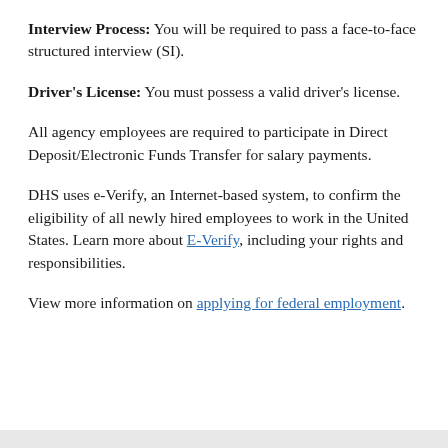Interview Process: You will be required to pass a face-to-face structured interview (SI).
Driver's License: You must possess a valid driver's license.
All agency employees are required to participate in Direct Deposit/Electronic Funds Transfer for salary payments.
DHS uses e-Verify, an Internet-based system, to confirm the eligibility of all newly hired employees to work in the United States. Learn more about E-Verify, including your rights and responsibilities.
View more information on applying for federal employment.